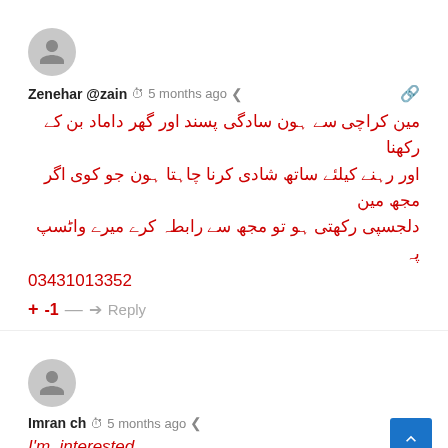[Figure (illustration): Grey circular avatar icon for user Zenehar]
Zenehar @zain  5 months ago
مین کراچی سے ہون سادگی پسند اور گھر داماد بن کے رکھنا اور رہنے کیلئے ساتھ شادی کرنا چاہتا ہون جو کوی اگر مجھ مین دلجسپی رکھتی ہو تو مجھ سے رابطہ کرے میرے واٹسپ پہ 03431013352
+ -1 — → Reply
[Figure (illustration): Grey circular avatar icon for user Imran ch]
Imran ch  5 months ago
I'm  interested